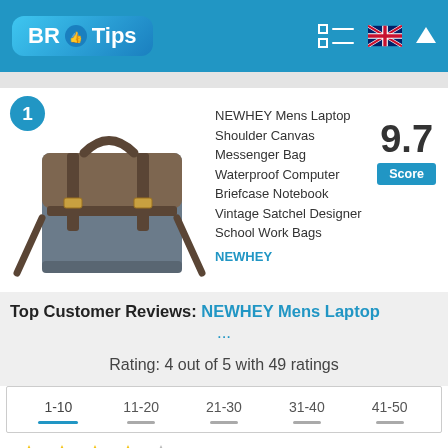[Figure (logo): BRTips logo with blue thumbs-up icon]
[Figure (photo): NEWHEY canvas messenger bag, grey/brown leather, item #1]
NEWHEY Mens Laptop Shoulder Canvas Messenger Bag Waterproof Computer Briefcase Notebook Vintage Satchel Designer School Work Bags
NEWHEY
9.7 Score
Top Customer Reviews: NEWHEY Mens Laptop ...
Rating: 4 out of 5 with 49 ratings
| 1-10 | 11-20 | 21-30 | 31-40 | 41-50 |
| --- | --- | --- | --- | --- |
|  |
|  |
[Figure (other): Star rating icons, 4 gold stars and 1 grey star]